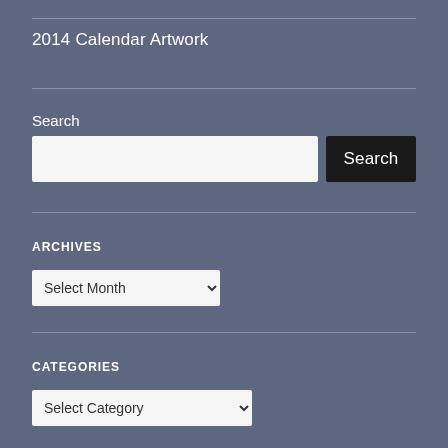2014 Calendar Artwork
Search
[Figure (screenshot): Search input field with a dark Search button]
ARCHIVES
[Figure (screenshot): Select Month dropdown]
CATEGORIES
[Figure (screenshot): Select Category dropdown]